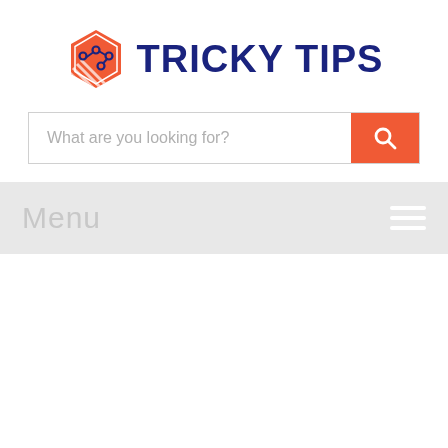[Figure (logo): Tricky Tips logo: orange hexagon with chain/network icon and orange diagonal stripes, beside bold navy text 'TRICKY TIPS']
What are you looking for?
Menu